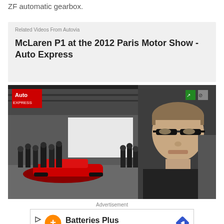ZF automatic gearbox.
Related Videos From Autovia
McLaren P1 at the 2012 Paris Motor Show - Auto Express
[Figure (photo): Video thumbnail showing a man in black shirt at the 2012 Paris Motor Show with a red McLaren P1 on display and crowd in background. Auto Express logo visible in top left.]
Advertisement
[Figure (other): Advertisement banner for Batteries Plus / Batteries Plus Bulbs with orange circle plus logo, play/close icons on left, and blue diamond arrow icon on right.]